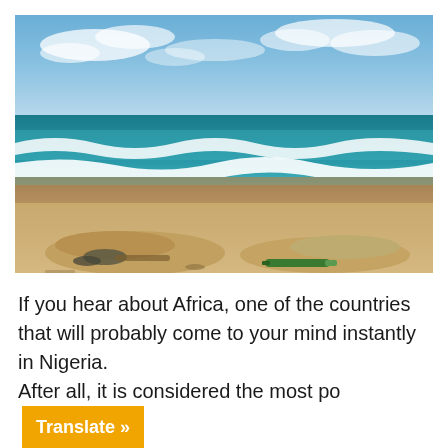[Figure (photo): A beach scene with blue sky and white clouds above, teal ocean waves breaking on a sandy shore, and debris including what appears to be a green bottle on the sand in the foreground.]
If you hear about Africa, one of the countries that will probably come to your mind instantly in Nigeria. After all, it is considered the most po [Translate »]